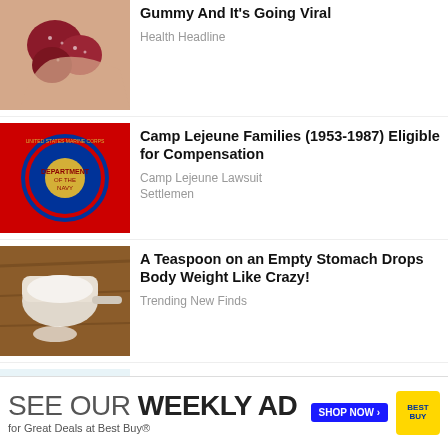[Figure (photo): Hand holding red gummy candy pieces]
Gummy And It's Going Viral
Health Headline
[Figure (photo): US Marine Corps emblem on red background]
Camp Lejeune Families (1953-1987) Eligible for Compensation
Camp Lejeune Lawsuit
Settlemen
[Figure (photo): Measuring scoop with white powder on wooden surface]
A Teaspoon on an Empty Stomach Drops Body Weight Like Crazy!
Trending New Finds
[Figure (photo): Elbow joint with redness indicating inflammation]
Common Signs Your Body is Fighting Lung Cancer
Lung Cancer - Sponsored
[Figure (photo): Partial image of hands with food item]
One Bite of This May Keep Blood Sugar
SEE OUR WEEKLY AD for Great Deals at Best Buy®